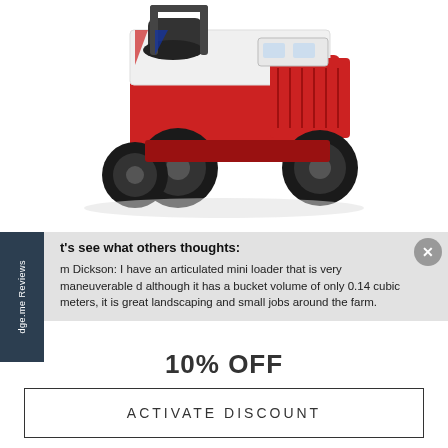[Figure (photo): Red and white articulated mini loader / compact utility loader with large black tires, viewed from a three-quarter front angle against a white background.]
t's see what others thoughts:
m Dickson: I have an articulated mini loader that is very maneuverable d although it has a bucket volume of only 0.14 cubic meters, it is great landscaping and small jobs around the farm.
10% OFF
ACTIVATE DISCOUNT